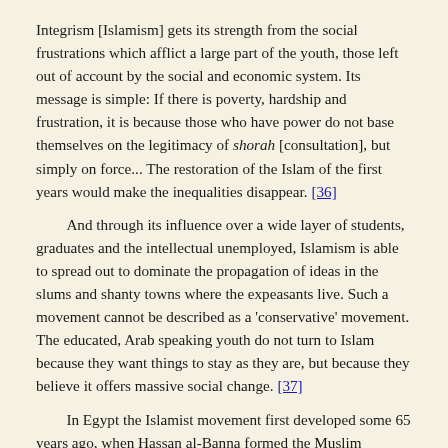Integrism [Islamism] gets its strength from the social frustrations which afflict a large part of the youth, those left out of account by the social and economic system. Its message is simple: If there is poverty, hardship and frustration, it is because those who have power do not base themselves on the legitimacy of shorah [consultation], but simply on force... The restoration of the Islam of the first years would make the inequalities disappear. [36]
And through its influence over a wide layer of students, graduates and the intellectual unemployed, Islamism is able to spread out to dominate the propagation of ideas in the slums and shanty towns where the expeasants live. Such a movement cannot be described as a 'conservative' movement. The educated, Arab speaking youth do not turn to Islam because they want things to stay as they are, but because they believe it offers massive social change. [37]
In Egypt the Islamist movement first developed some 65 years ago, when Hassan al-Banna formed the Muslim Brotherhood. It grew in the 1930s and 1940s as disillusionment set in with the failure of the secular nationalist party, the Wafd, to challenge British domination of the country. The base of the movement consisted mainly of civil servants and students, and it was one of the major forces in the university protests of the